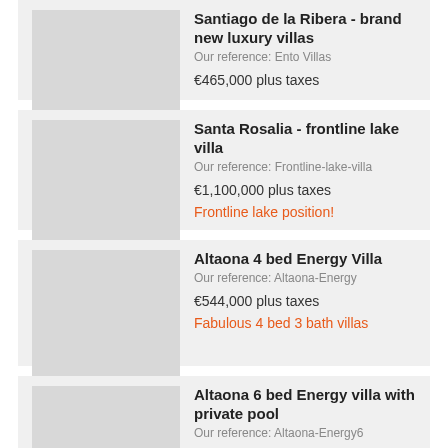Santiago de la Ribera - brand new luxury villas
Our reference: Ento Villas
€465,000 plus taxes
Santa Rosalia - frontline lake villa
Our reference: Frontline-lake-villa
€1,100,000 plus taxes
Frontline lake position!
Altaona 4 bed Energy Villa
Our reference: Altaona-Energy
€544,000 plus taxes
Fabulous 4 bed 3 bath villas
Altaona 6 bed Energy villa with private pool
Our reference: Altaona-Energy6
€919,000 plus taxes
Luxurious 6 bed villa with private pool